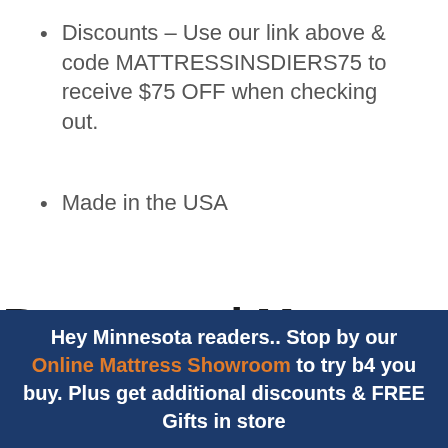Discounts – Use our link above & code MATTRESSINSDIERS75 to receive $75 OFF when checking out.
Made in the USA
Brentwood Mattress
Hey Minnesota readers.. Stop by our Online Mattress Showroom to try b4 you buy. Plus get additional discounts & FREE Gifts in store